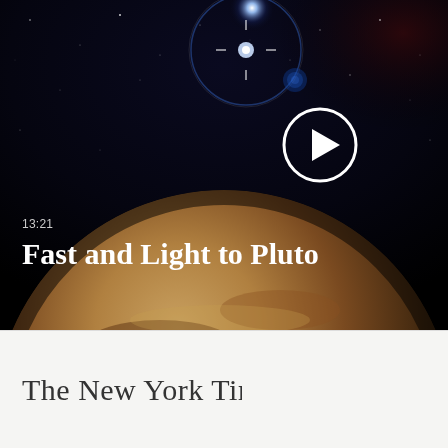[Figure (photo): Video thumbnail showing a space scene: a large planet (Pluto) rising from the bottom-center, brownish-reddish surface, set against a black starry sky with a bright blue-white star in the upper area with a circular lens glow. A white circular play button is overlaid on the upper right area. Text overlay shows '13:21' timestamp and 'Fast and Light to Pluto' title.]
13:21
Fast and Light to Pluto
[Figure (logo): The New York Times logo in black serif blackletter/old English typeface]